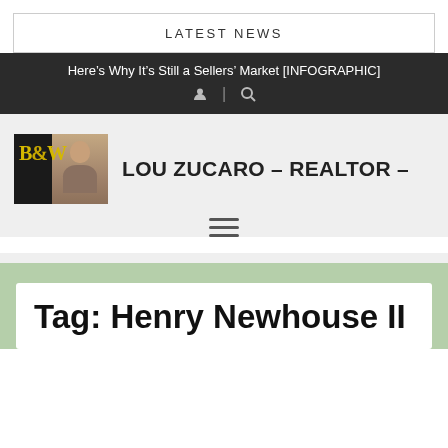LATEST NEWS
Here’s Why It’s Still a Sellers’ Market [INFOGRAPHIC]
[Figure (logo): B&W Realtor logo with photo of Lou Zucaro]
LOU ZUCARO – REALTOR –
Tag: Henry Newhouse II